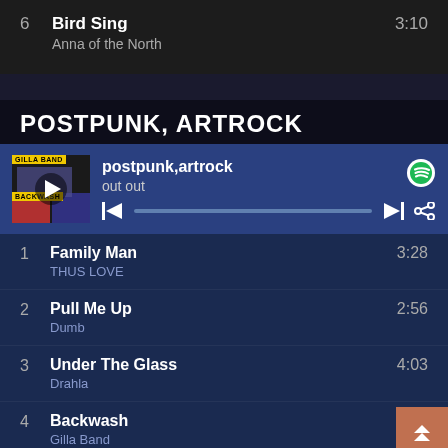6  Bird Sing  3:10
Anna of the North
POSTPUNK, ARTROCK
[Figure (screenshot): Spotify player bar showing postpunk,artrock playlist with album art for Gilla Band, playing 'out out', with playback controls and progress bar]
1  Family Man  3:28
THUS LOVE
2  Pull Me Up  2:56
Dumb
3  Under The Glass  4:03
Drahla
4  Backwash  3:21
Gilla Band